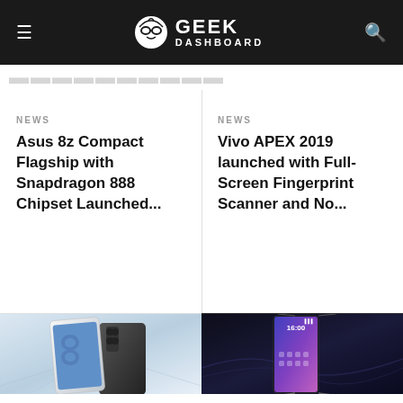GEEK DASHBOARD
NEWS ... (partially visible, cut off)
NEWS
Asus 8z Compact Flagship with Snapdragon 888 Chipset Launched...
NEWS
Vivo APEX 2019 launched with Full-Screen Fingerprint Scanner and No...
[Figure (photo): Asus 8z smartphone shown from front and back, with characteristic 8-shape camera design]
[Figure (photo): Vivo APEX 2019 smartphone with edge-to-edge display and futuristic cable attachments on dark background]